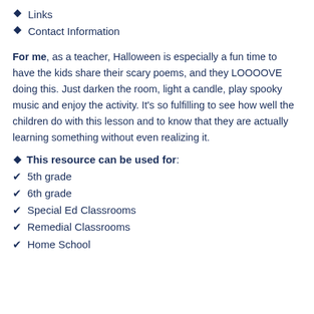Links
Contact Information
For me, as a teacher, Halloween is especially a fun time to have the kids share their scary poems, and they LOOOOVE doing this. Just darken the room, light a candle, play spooky music and enjoy the activity. It's so fulfilling to see how well the children do with this lesson and to know that they are actually learning something without even realizing it.
This resource can be used for:
5th grade
6th grade
Special Ed Classrooms
Remedial Classrooms
Home School